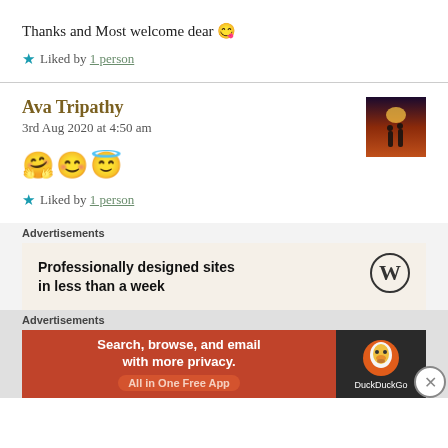Thanks and Most welcome dear 😋
★ Liked by 1 person
Ava Tripathy
3rd Aug 2020 at 4:50 am
[Figure (photo): User avatar thumbnail showing silhouette of people at sunset]
🤗😊😇
★ Liked by 1 person
Advertisements
[Figure (screenshot): WordPress ad: Professionally designed sites in less than a week]
Advertisements
[Figure (screenshot): DuckDuckGo ad: Search, browse, and email with more privacy. All in One Free App]